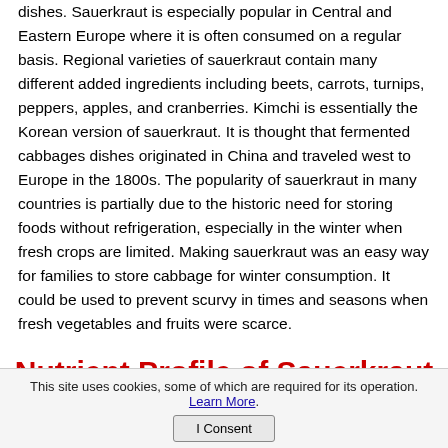dishes. Sauerkraut is especially popular in Central and Eastern Europe where it is often consumed on a regular basis. Regional varieties of sauerkraut contain many different added ingredients including beets, carrots, turnips, peppers, apples, and cranberries. Kimchi is essentially the Korean version of sauerkraut. It is thought that fermented cabbages dishes originated in China and traveled west to Europe in the 1800s. The popularity of sauerkraut in many countries is partially due to the historic need for storing foods without refrigeration, especially in the winter when fresh crops are limited. Making sauerkraut was an easy way for families to store cabbage for winter consumption. It could be used to prevent scurvy in times and seasons when fresh vegetables and fruits were scarce.
Nutrient Profile of Sauerkraut
This site uses cookies, some of which are required for its operation. Learn More. I Consent